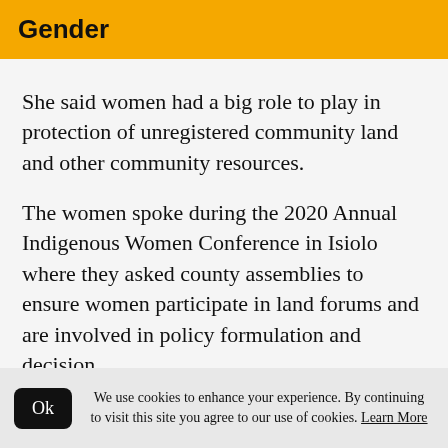Gender
She said women had a big role to play in protection of unregistered community land and other community resources.
The women spoke during the 2020 Annual Indigenous Women Conference in Isiolo where they asked county assemblies to ensure women participate in land forums and are involved in policy formulation and decision
We use cookies to enhance your experience. By continuing to visit this site you agree to our use of cookies. Learn More